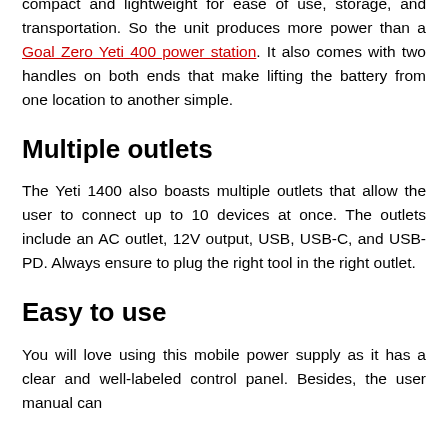compact and lightweight for ease of use, storage, and transportation. So the unit produces more power than a Goal Zero Yeti 400 power station. It also comes with two handles on both ends that make lifting the battery from one location to another simple.
Multiple outlets
The Yeti 1400 also boasts multiple outlets that allow the user to connect up to 10 devices at once. The outlets include an AC outlet, 12V output, USB, USB-C, and USB-PD. Always ensure to plug the right tool in the right outlet.
Easy to use
You will love using this mobile power supply as it has a clear and well-labeled control panel. Besides, the user manual can